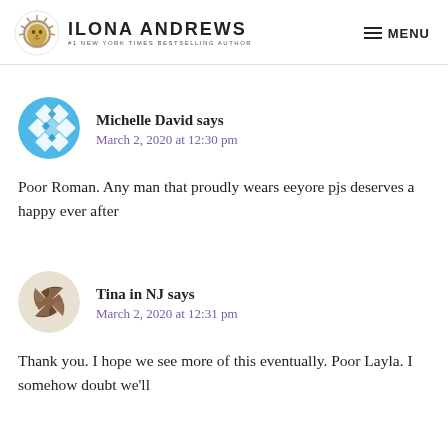ILONA ANDREWS — #1 NEW YORK TIMES BESTSELLING AUTHOR | MENU
[Figure (illustration): Blue mosaic/diamond-pattern circular avatar for Michelle David]
Michelle David says
March 2, 2020 at 12:30 pm
Poor Roman. Any man that proudly wears eeyore pjs deserves a happy ever after
[Figure (illustration): Brown/tan pinwheel geometric circular avatar for Tina in NJ]
Tina in NJ says
March 2, 2020 at 12:31 pm
Thank you. I hope we see more of this eventually. Poor Layla. I somehow doubt we'll